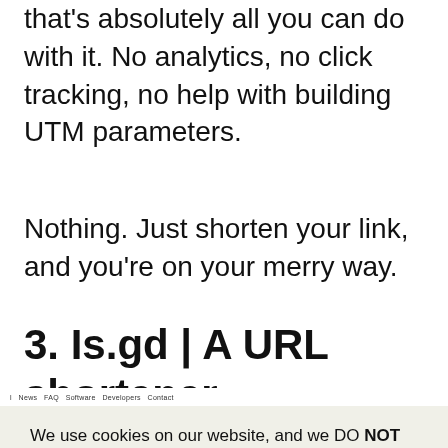that's absolutely all you can do with it. No analytics, no click tracking, no help with building UTM parameters.
Nothing. Just shorten your link, and you’re on your merry way.
3. Is.gd | A URL shortener
[Figure (screenshot): Screenshot of Is.gd website with navigation bar showing links: l, News, FAQ, Software, Developers, Contact. Below is a cookie consent banner with text 'We use cookies on our website, and we DO NOT sell your information.' with Cookie Settings and Accept buttons.]